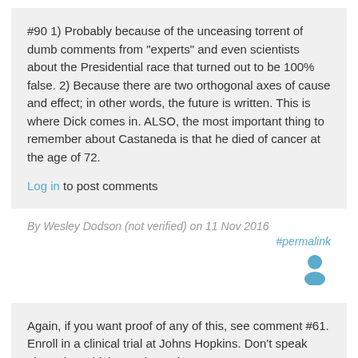#90 1) Probably because of the unceasing torrent of dumb comments from "experts" and even scientists about the Presidential race that turned out to be 100% false. 2) Because there are two orthogonal axes of cause and effect; in other words, the future is written. This is where Dick comes in. ALSO, the most important thing to remember about Castaneda is that he died of cancer at the age of 72.
Log in to post comments
By Wesley Dodson (not verified) on 11 Nov 2016
#permalink
[Figure (illustration): Generic user avatar icon in blue/teal color]
Again, if you want proof of any of this, see comment #61. Enroll in a clinical trial at Johns Hopkins. Don't speak about that which you do not know.